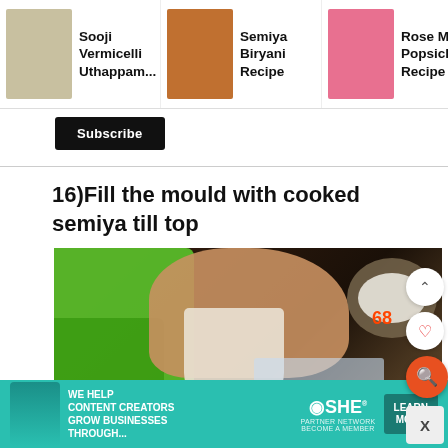[Figure (photo): Carousel of recipe thumbnails: Sooji Vermicelli Uthappam, Semiya Biryani Recipe, Rose Milk Popsicles Recipe]
Sooji Vermicelli Uthappam...
Semiya Biryani Recipe
Rose Milk Popsicles Recipe
Subscribe
16)Fill the mould with cooked semiya till top
[Figure (photo): Photo of hands filling a plastic mould with cooked semiya (vermicelli), with a green mould tool on the left and a bowl of white vermicelli on the right. Number 68 shown in orange. Floating UI buttons: up-arrow, heart, search, and X.]
[Figure (infographic): Advertisement banner for SHE Partner Network: 'We help content creators grow businesses through...' with a Learn More button on teal background.]